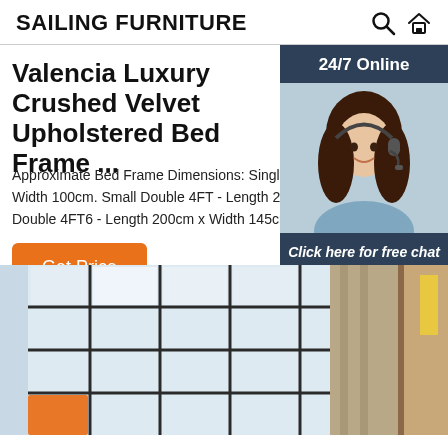SAILING FURNITURE
Valencia Luxury Crushed Velvet Upholstered Bed Frame ...
Approximate Bed Frame Dimensions: Single 3FT - Length Width 100cm. Small Double 4FT - Length 200cm x Width Double 4FT6 - Length 200cm x Width 145cm. King 5F
Get Price
[Figure (photo): Customer service representative with headset, with '24/7 Online' header and 'Click here for free chat!' text plus QUOTATION button]
[Figure (photo): Room interior showing large grid windows with curtains and wooden furniture]